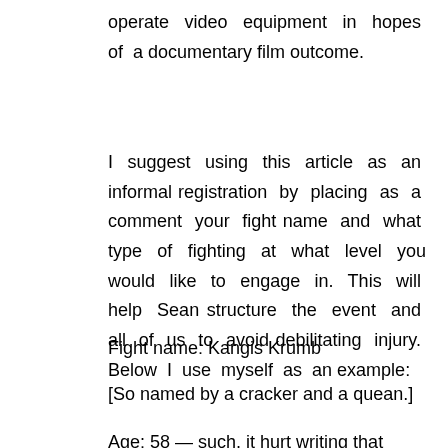operate video equipment in hopes of a documentary film outcome.
I suggest using this article as an informal registration by placing as a comment your fight name and what type of fighting at what level you would like to engage in. This will help Sean structure the event and all of us to avoid debilitating injury. Below I use myself as an example:
Fight name: Kangis Krumb
[So named by a cracker and a quean.]
Age: 58 — such, it hurt writing that